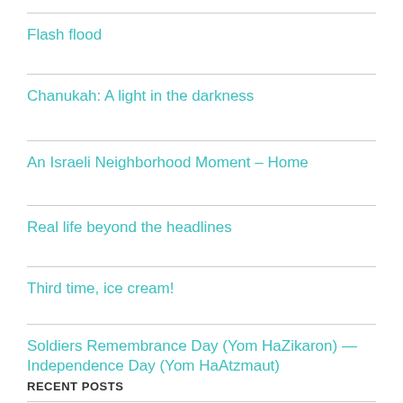Flash flood
Chanukah: A light in the darkness
An Israeli Neighborhood Moment – Home
Real life beyond the headlines
Third time, ice cream!
Soldiers Remembrance Day (Yom HaZikaron) — Independence Day (Yom HaAtzmaut)
RECENT POSTS